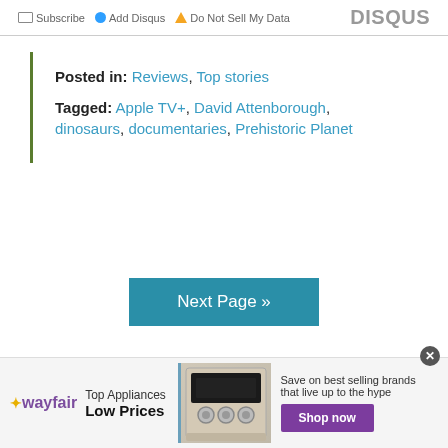Subscribe  Add Disqus  Do Not Sell My Data   DISQUS
Posted in: Reviews, Top stories
Tagged: Apple TV+, David Attenborough, dinosaurs, documentaries, Prehistoric Planet
Next Page »
[Figure (infographic): Wayfair advertisement banner: Top Appliances Low Prices with an image of a stove/oven appliance and a Shop now button. Save on best selling brands that live up to the hype.]